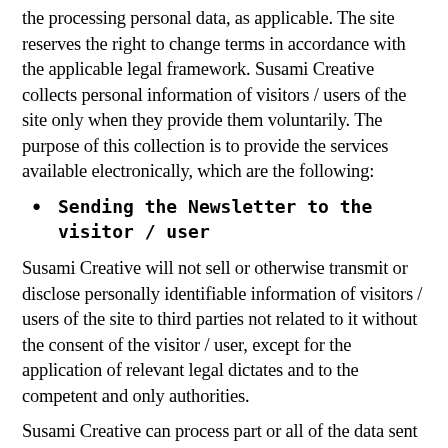the processing personal data, as applicable. The site reserves the right to change terms in accordance with the applicable legal framework. Susami Creative collects personal information of visitors / users of the site only when they provide them voluntarily. The purpose of this collection is to provide the services available electronically, which are the following:
Sending the Newsletter to the visitor / user
Susami Creative will not sell or otherwise transmit or disclose personally identifiable information of visitors / users of the site to third parties not related to it without the consent of the visitor / user, except for the application of relevant legal dictates and to the competent and only authorities.
Susami Creative can process part or all of the data sent by visitors / users for statistical purposes and for improving its information services. The visitor / user can contact the site administrator in order to cross-check the personal file, correct it, change it or delete it.